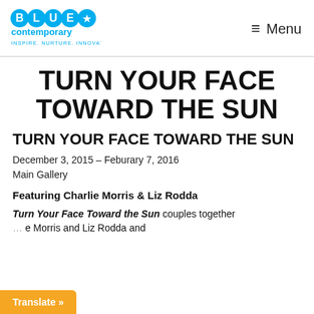BLUE★ contemporary — INSPIRE. NURTURE. INNOVATE. | Menu
TURN YOUR FACE TOWARD THE SUN
TURN YOUR FACE TOWARD THE SUN
December 3, 2015 – Feburary 7, 2016
Main Gallery
Featuring Charlie Morris & Liz Rodda
Turn Your Face Toward the Sun couples together … Morris and Liz Rodda and